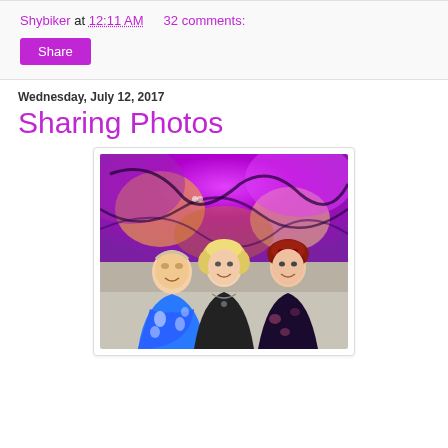Shybiker at 12:11 AM    32 comments:
Share
Wednesday, July 12, 2017
Sharing Photos
[Figure (photo): Three people smiling in front of a colorful psychedelic mural with swirling purple, pink, and orange patterns. Left: older man in blue Hawaiian shirt, center: blonde woman in black top with necklace, right: woman with red hair in dark floral dress.]